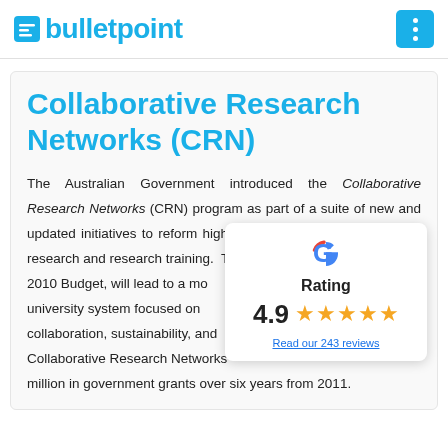bulletpoint
Collaborative Research Networks (CRN)
The Australian Government introduced the Collaborative Research Networks (CRN) program as part of a suite of new and updated initiatives to reform higher education teaching, learning, research and research training. These reforms, announced in the 2010 Budget, will lead to a more collegial and productive university system focused on greater cross-institutional collaboration, sustainability, and quality. The funding for Collaborative Research Networks will provide $136 million in government grants over six years from 2011.
[Figure (infographic): Google G logo above 'Rating' text, with score 4.9 and five gold stars, and a link 'Read our 243 reviews']